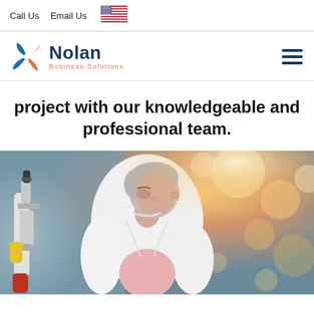Call Us   Email Us
[Figure (logo): Nolan Business Solutions logo with orange/blue pinwheel icon]
project with our knowledgeable and professional team.
[Figure (photo): Female scientist with short grey hair in white lab coat looking through a microscope in a laboratory setting]